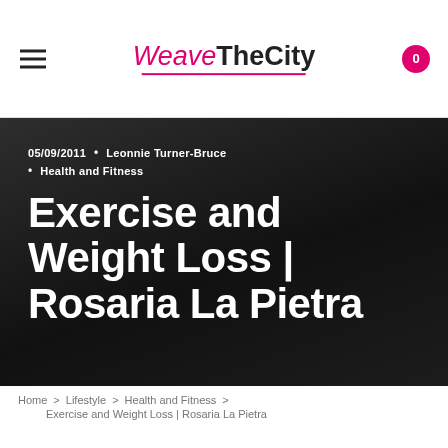WeAreTheCity — navigation header with hamburger menu and cart badge (0)
05/09/2011 • Leonnie Turner-Bruce • Health and Fitness
Exercise and Weight Loss | Rosaria La Pietra
Home > Lifestyle > Health and Fitness > Exercise and Weight Loss | Rosaria La Pietra